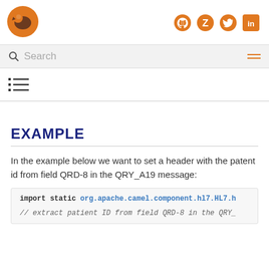[Figure (logo): Orange stylized bird/wolf logo]
[Figure (logo): Social media icons: GitHub, Zotero, Twitter, LinkedIn in orange]
Search
[Figure (illustration): Table of contents icon (list/bullet icon)]
EXAMPLE
In the example below we want to set a header with the patent id from field QRD-8 in the QRY_A19 message:
import static org.apache.camel.component.hl7.HL7.h
// extract patient ID from field QRD-8 in the QRY_